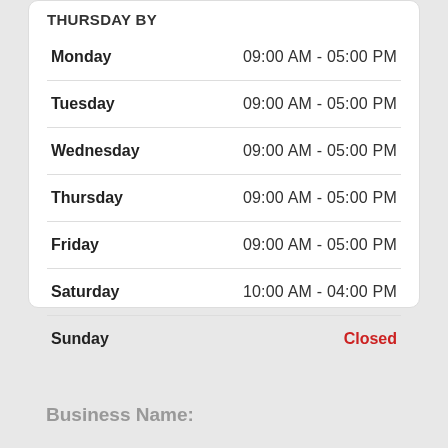| Day | Hours |
| --- | --- |
| Monday | 09:00 AM - 05:00 PM |
| Tuesday | 09:00 AM - 05:00 PM |
| Wednesday | 09:00 AM - 05:00 PM |
| Thursday | 09:00 AM - 05:00 PM |
| Friday | 09:00 AM - 05:00 PM |
| Saturday | 10:00 AM - 04:00 PM |
| Sunday | Closed |
Business Name: